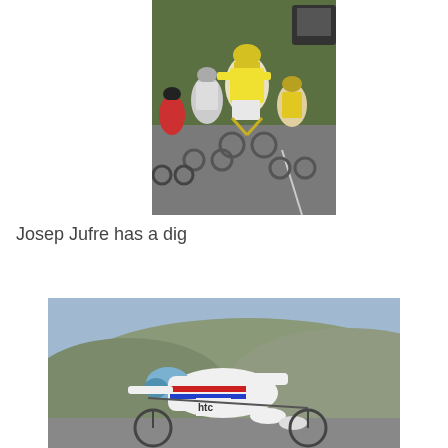[Figure (photo): Group of cyclists racing on a road, leader wearing yellow jersey and yellow helmet, others following closely behind]
Josep Jufre has a dig
[Figure (photo): Cyclist in white HTC team kit with Luxembourg national champion stripes, in aerodynamic time trial position, scenic landscape in background]